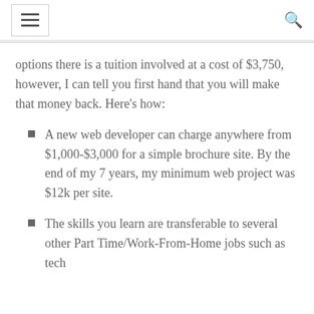≡  Q
options there is a tuition involved at a cost of $3,750, however, I can tell you first hand that you will make that money back. Here's how:
A new web developer can charge anywhere from $1,000-$3,000 for a simple brochure site. By the end of my 7 years, my minimum web project was $12k per site.
The skills you learn are transferable to several other Part Time/Work-From-Home jobs such as tech